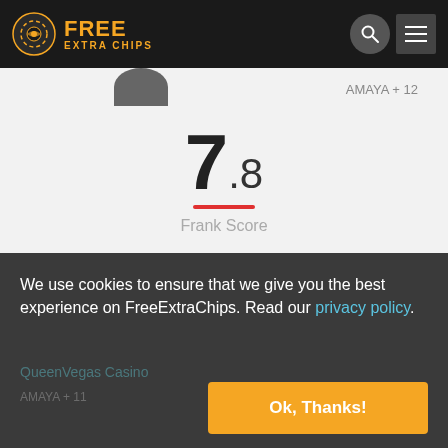FREE EXTRA CHIPS
AMAYA + 12
7.8
Frank Score
129th OF 711
1 REVIEWS
3.9K READERS
NO UNITED STATES
We use cookies to ensure that we give you the best experience on FreeExtraChips. Read our privacy policy.
Ok, Thanks!